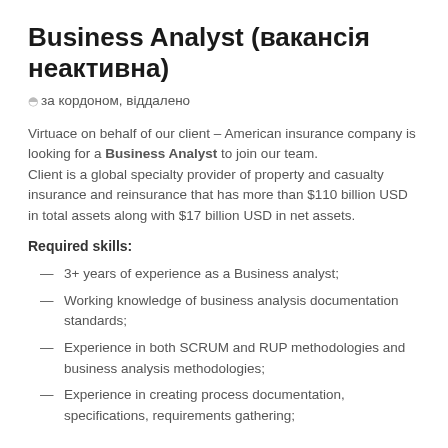Business Analyst (вакансія неактивна)
за кордоном, віддалено
Virtuace on behalf of our client – American insurance company is looking for a Business Analyst to join our team. Client is a global specialty provider of property and casualty insurance and reinsurance that has more than $110 billion USD in total assets along with $17 billion USD in net assets.
Required skills:
3+ years of experience as a Business analyst;
Working knowledge of business analysis documentation standards;
Experience in both SCRUM and RUP methodologies and business analysis methodologies;
Experience in creating process documentation, specifications, requirements gathering;